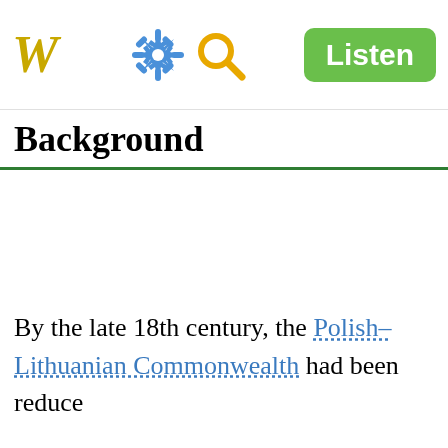W [gear icon] [search icon] Listen
Background
By the late 18th century, the Polish–Lithuanian Commonwealth had been reduce